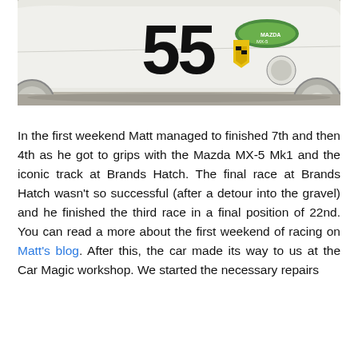[Figure (photo): Side view of a white Mazda MX-5 race car with the number 55 displayed prominently on the door, along with racing stickers including a yellow shield emblem and Mazda MX-5 logo.]
In the first weekend Matt managed to finished 7th and then 4th as he got to grips with the Mazda MX-5 Mk1 and the iconic track at Brands Hatch. The final race at Brands Hatch wasn't so successful (after a detour into the gravel) and he finished the third race in a final position of 22nd. You can read a more about the first weekend of racing on Matt's blog. After this, the car made its way to us at the Car Magic workshop. We started the necessary repairs